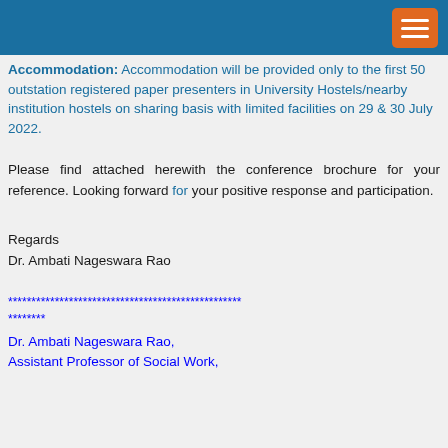Accommodation: Accommodation will be provided only to the first 50 outstation registered paper presenters in University Hostels/nearby institution hostels on sharing basis with limited facilities on 29 & 30 July 2022.
Please find attached herewith the conference brochure for your reference. Looking forward for your positive response and participation.
Regards
Dr. Ambati Nageswara Rao
**************************************************
********
Dr. Ambati Nageswara Rao,
Assistant Professor of Social Work,